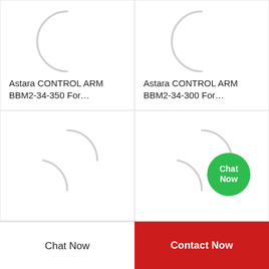[Figure (screenshot): Product image loading spinner arc - top left cell]
Astara CONTROL ARM BBM2-34-350 For…
[Figure (screenshot): Product image loading spinner arc - top right cell]
Astara CONTROL ARM BBM2-34-300 For…
[Figure (screenshot): Product image loading spinner arc - bottom left cell]
[Figure (screenshot): Product image loading spinner arc - bottom right cell with Chat Now green bubble]
Chat Now
Contact Now